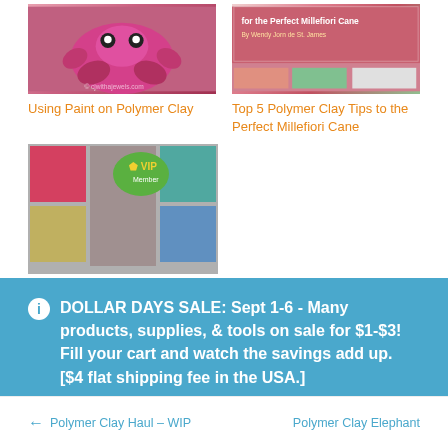[Figure (photo): Thumbnail image of polymer clay creature - pinkish purple sculptural figure]
Using Paint on Polymer Clay
[Figure (photo): Thumbnail image collage for Top 5 Polymer Clay Tips to the Perfect Millefiori Cane]
Top 5 Polymer Clay Tips to the Perfect Millefiori Cane
[Figure (photo): WIP Wednesday in Katoen Acces Studio - collage of jewelry and fabric images with a VIP badge]
WIP Wednesday in Katoen Acces Studio -
DOLLAR DAYS SALE: Sept 1-6 - Many products, supplies, & tools on sale for $1-$3! Fill your cart and watch the savings add up. [$4 flat shipping fee in the USA.]
Dismiss
← Polymer Clay Haul – WIP
Polymer Clay Elephant